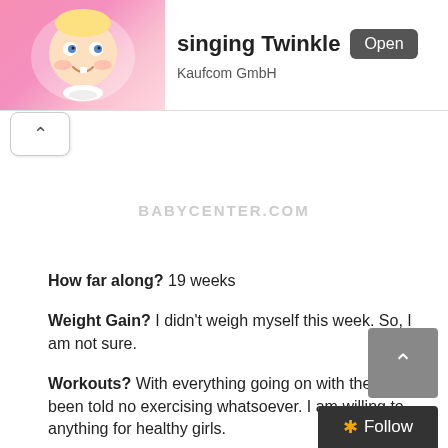[Figure (screenshot): App advertisement banner showing a cartoon baby and the text 'singing Twinkle' with an Open button and 'Kaufcom GmbH' subtitle]
BABYCENTER.COM
How far along? 19 weeks
Weight Gain? I didn't weigh myself this week. So, I am not sure.
Workouts? With everything going on with the girls been told no exercising whatsoever. I am willing to anything for healthy girls.